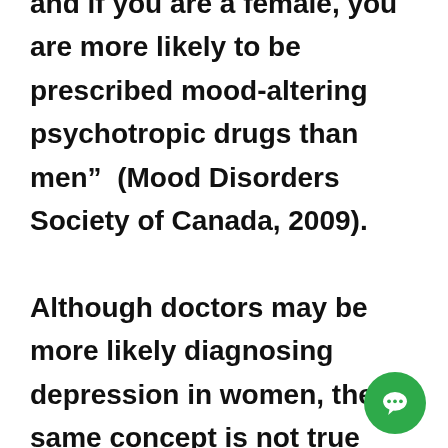and if you are a female, you are more likely to be prescribed mood-altering psychotropic drugs than men”  (Mood Disorders Society of Canada, 2009).  Although doctors may be more likely diagnosing depression in women, the same concept is not true about all disorders.  Men tend to have an equal rate of bipolar disorder and schizophrenia as women.  People from different